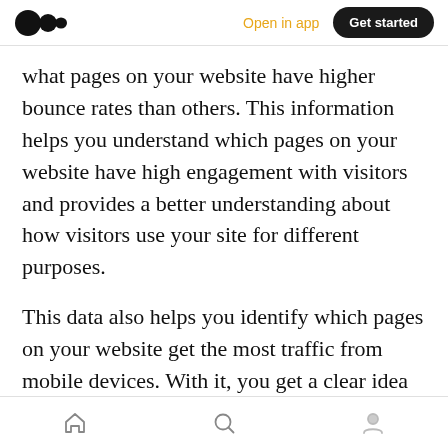Medium logo | Open in app | Get started
what pages on your website have higher bounce rates than others. This information helps you understand which pages on your website have high engagement with visitors and provides a better understanding about how visitors use your site for different purposes.
This data also helps you identify which pages on your website get the most traffic from mobile devices. With it, you get a clear idea of what type of content people like most and which pages on your website get the most traffic from mobile
Bottom navigation: Home, Search, Profile